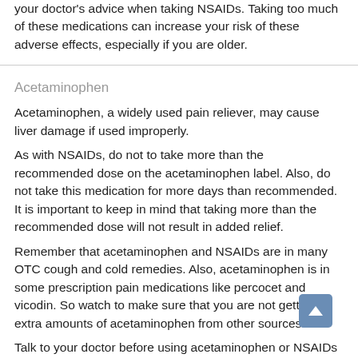your doctor's advice when taking NSAIDs. Taking too much of these medications can increase your risk of these adverse effects, especially if you are older.
Acetaminophen
Acetaminophen, a widely used pain reliever, may cause liver damage if used improperly.
As with NSAIDs, do not to take more than the recommended dose on the acetaminophen label. Also, do not take this medication for more days than recommended. It is important to keep in mind that taking more than the recommended dose will not result in added relief.
Remember that acetaminophen and NSAIDs are in many OTC cough and cold remedies. Also, acetaminophen is in some prescription pain medications like percocet and vicodin. So watch to make sure that you are not getting extra amounts of acetaminophen from other sources.
Talk to your doctor before using acetaminophen or NSAIDs if you have liver disease, are on warfarin